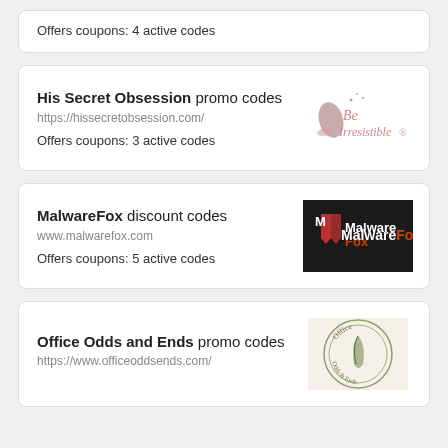Offers coupons: 4 active codes
His Secret Obsession promo codes
https://hissecretobsession.com/
Offers coupons: 3 active codes
[Figure (logo): Be Irresistible cursive pink logo with a shoe silhouette]
MalwareFox discount codes
www.malwarefox.com
Offers coupons: 5 active codes
[Figure (logo): MalwareFox logo on dark background with red M shield icon and white/red text]
Office Odds and Ends promo codes
https://www.officeoddsends.com/
[Figure (logo): Office Odds and Ends circular logo with quill pen]